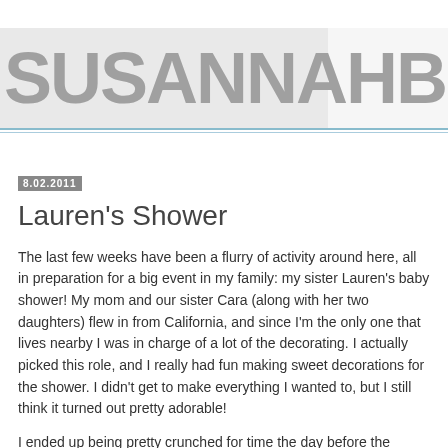SUSANNAHBEAN
Lauren's Shower
8.02.2011
The last few weeks have been a flurry of activity around here, all in preparation for a big event in my family: my sister Lauren's baby shower! My mom and our sister Cara (along with her two daughters) flew in from California, and since I'm the only one that lives nearby I was in charge of a lot of the decorating. I actually picked this role, and I really had fun making sweet decorations for the shower. I didn't get to make everything I wanted to, but I still think it turned out pretty adorable!
I ended up being pretty crunched for time the day before the